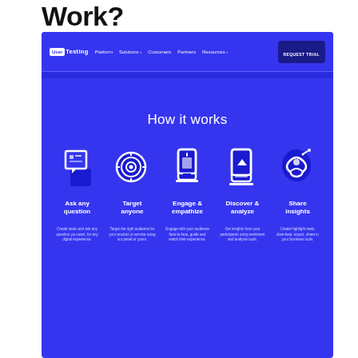Work?
[Figure (screenshot): Screenshot of the UserTesting website showing the 'How it works' section with a blue background. Navigation bar at top with UserTesting logo and links: Platform, Solutions, Customers, Partners, Resources, and a REQUEST TRIAL button. Below the nav is a blue hero section titled 'How it works' with five icon columns: Ask any question, Target anyone, Engage & empathize, Discover & analyze, Share insights — each with a white icon and short description text below.]